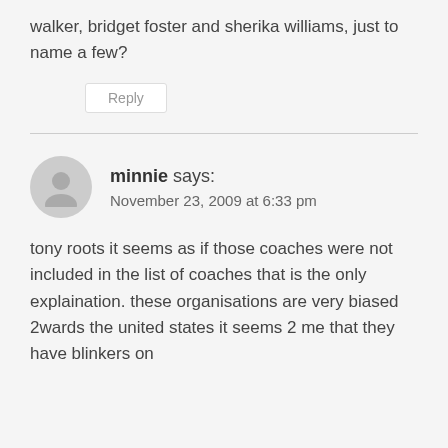walker, bridget foster and sherika williams, just to name a few?
Reply
minnie says:
November 23, 2009 at 6:33 pm
tony roots it seems as if those coaches were not included in the list of coaches that is the only explaination. these organisations are very biased 2wards the united states it seems 2 me that they have blinkers on